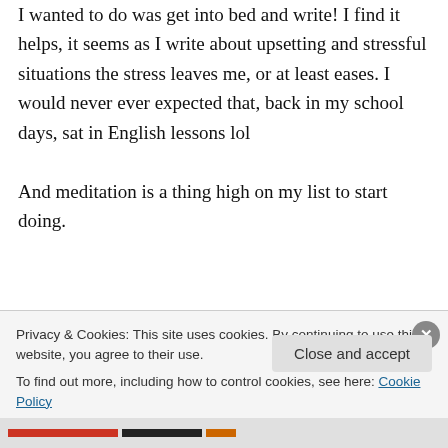I wanted to do was get into bed and write! I find it helps, it seems as I write about upsetting and stressful situations the stress leaves me, or at least eases. I would never ever expected that, back in my school days, sat in English lessons lol
And meditation is a thing high on my list to start doing.
★ Like
↪ Reply
Privacy & Cookies: This site uses cookies. By continuing to use this website, you agree to their use.
To find out more, including how to control cookies, see here: Cookie Policy
Close and accept